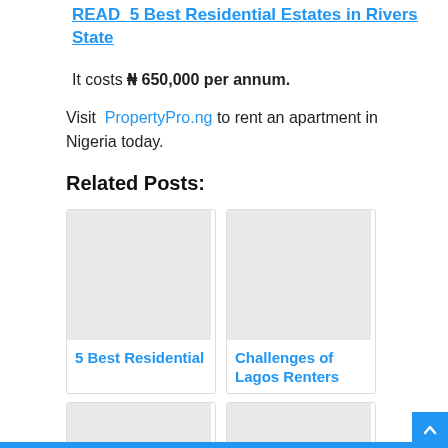READ  5 Best Residential Estates in Rivers State
It costs ₦ 650,000 per annum.
Visit  PropertyPro.ng to rent an apartment in Nigeria today.
Related Posts:
[Figure (photo): Placeholder image for 5 Best Residential post card]
5 Best Residential
[Figure (photo): Placeholder image for Challenges of Lagos Renters post card]
Challenges of Lagos Renters
[Figure (photo): Placeholder image for additional post card bottom left]
[Figure (photo): Placeholder image for additional post card bottom right]